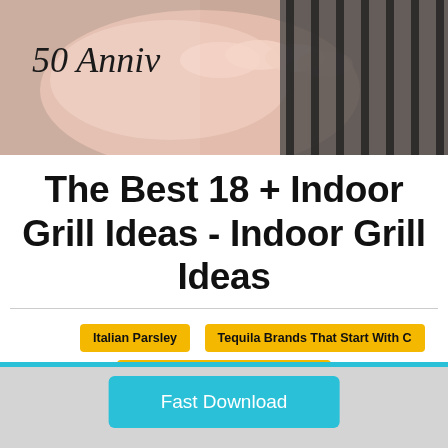[Figure (photo): Person's hand holding or pressing on a grill with dark grill grates visible. The image has a pink/flesh tone on the left and darkens to black grill on the right. Script text '50 Anniv' overlaid in top left.]
The Best 18 + Indoor Grill Ideas - Indoor Grill Ideas
Italian Parsley
Tequila Brands That Start With C
Scarf Crochet Patterns Diagram
Getting Rid Of Fire Ants
Bearnaise Sauce Whole Foods
Smoking Ribs Temp
Best Refrigerator For Garage
Fast Download